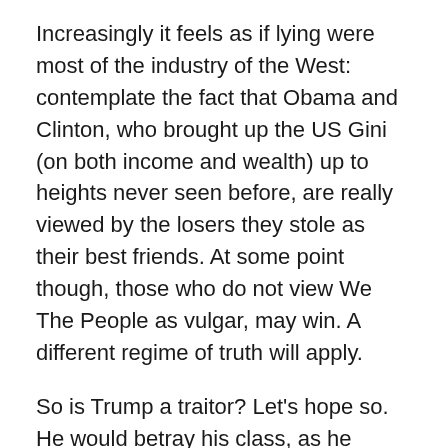Increasingly it feels as if lying were most of the industry of the West: contemplate the fact that Obama and Clinton, who brought up the US Gini (on both income and wealth) up to heights never seen before, are really viewed by the losers they stole as their best friends. At some point though, those who do not view We The People as vulgar, may win. A different regime of truth will apply.
So is Trump a traitor? Let's hope so. He would betray his class, as he already betrayed the Neoconservatives (who were all about invading Iraq).  When one looks at history on the largest scale, one can see that revolutions are often led by plutocrats who betrayed their own class (the Gracchi, and Caesar were from the very top of Roman society; they were assassinated; had they lived, the Roman Republic may well have survived, and progress forwarded, without the Dark Ages… one of the…